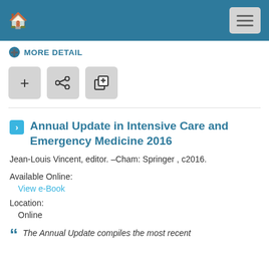MORE DETAIL
[Figure (screenshot): Navigation bar with home icon and hamburger menu button on teal background]
MORE DETAIL
[Figure (screenshot): Three action buttons: plus, share, and external link]
Annual Update in Intensive Care and Emergency Medicine 2016
Jean-Louis Vincent, editor. –Cham: Springer , c2016.
Available Online:
View e-Book
Location:
Online
The Annual Update compiles the most recent